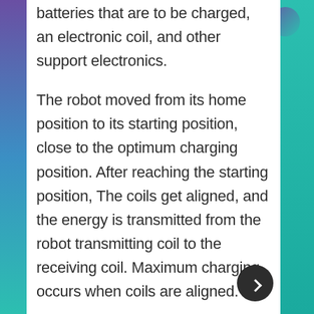batteries that are to be charged, an electronic coil, and other support electronics.
The robot moved from its home position to its starting position, close to the optimum charging position. After reaching the starting position, The coils get aligned, and the energy is transmitted from the robot transmitting coil to the receiving coil. Maximum charging occurs when coils are aligned.
The instruction for the robot was to move in small increments to optimize